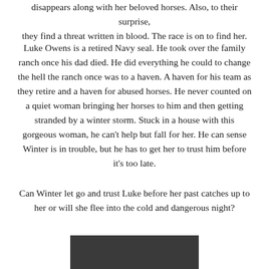disappears along with her beloved horses. Also, to their surprise, they find a threat written in blood. The race is on to find her.
Luke Owens is a retired Navy seal. He took over the family ranch once his dad died. He did everything he could to change the hell the ranch once was to a haven. A haven for his team as they retire and a haven for abused horses. He never counted on a quiet woman bringing her horses to him and then getting stranded by a winter storm. Stuck in a house with this gorgeous woman, he can't help but fall for her. He can sense Winter is in trouble, but he has to get her to trust him before it's too late.
Can Winter let go and trust Luke before her past catches up to her or will she flee into the cold and dangerous night?
[Figure (photo): A dark/grey image at the bottom of the page, partially visible.]